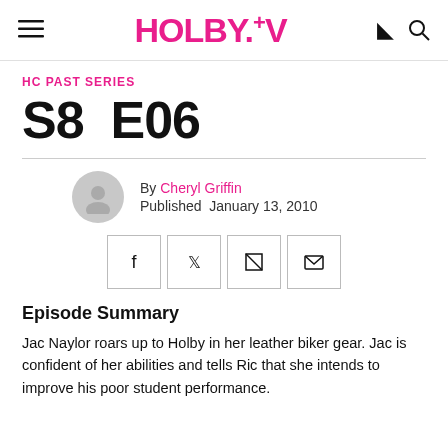HOLBY.TV
HC PAST SERIES
S8 E06
By Cheryl Griffin
Published January 13, 2010
[Figure (infographic): Social share buttons: Facebook, Twitter, Flipboard, Email]
Episode Summary
Jac Naylor roars up to Holby in her leather biker gear. Jac is confident of her abilities and tells Ric that she intends to improve his poor student performance.